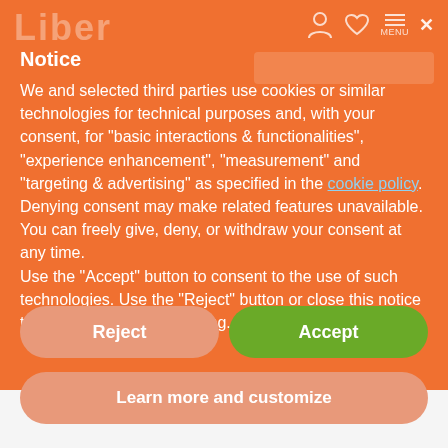Liber (logo) — navigation icons and close button
Notice
We and selected third parties use cookies or similar technologies for technical purposes and, with your consent, for "basic interactions & functionalities", "experience enhancement", "measurement" and "targeting & advertising" as specified in the cookie policy. Denying consent may make related features unavailable.
You can freely give, deny, or withdraw your consent at any time.
Use the "Accept" button to consent to the use of such technologies. Use the "Reject" button or close this notice to continue without accepting.
Reject
Accept
Learn more and customize